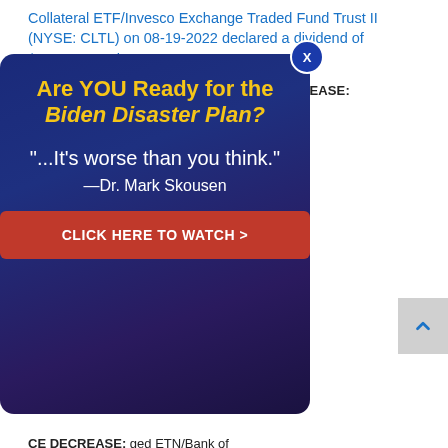Collateral ETF/Invesco Exchange Traded Fund Trust II (NYSE: CLTL) on 08-19-2022 declared a dividend of $0.1218 per share
Aug 19,2022 - DRIP STOCK PRICE DECREASE:
...d Bear 2x Shs d Fund Trust on s from $17.46 to
[Figure (other): Advertisement overlay: 'Are YOU Ready for the Biden Disaster Plan?' with quote '...It's worse than you think.' —Dr. Mark Skousen, with a red CLICK HERE TO WATCH > button. Blue/dark background with US flag imagery.]
E INCREASE: everaged 19-2022 7 to $19.73
CE DECREASE: ged ETN/Bank of Montreal (Quebec) on 08-19-2022 decreased stock price